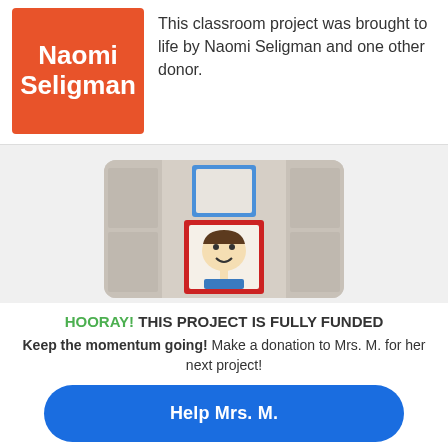[Figure (illustration): Orange square avatar with white bold text reading 'Naomi Seligman']
This classroom project was brought to life by Naomi Seligman and one other donor.
[Figure (photo): Classroom photo showing framed student drawings on a wall, including a child's drawing of a face with a red border]
HOORAY! THIS PROJECT IS FULLY FUNDED
Keep the momentum going! Make a donation to Mrs. M. for her next project!
Help Mrs. M.